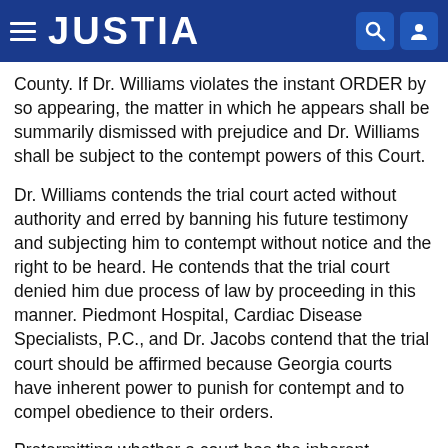JUSTIA
County. If Dr. Williams violates the instant ORDER by so appearing, the matter in which he appears shall be summarily dismissed with prejudice and Dr. Williams shall be subject to the contempt powers of this Court.
Dr. Williams contends the trial court acted without authority and erred by banning his future testimony and subjecting him to contempt without notice and the right to be heard. He contends that the trial court denied him due process of law by proceeding in this manner. Piedmont Hospital, Cardiac Disease Specialists, P.C., and Dr. Jacobs contend that the trial court should be affirmed because Georgia courts have inherent power to punish for contempt and to compel obedience to their orders.
Pretermitting whether a court has the inherent authority to issue an order such as this as a sanction,